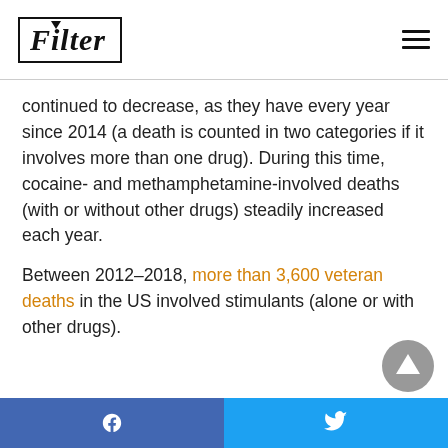Filter
continued to decrease, as they have every year since 2014 (a death is counted in two categories if it involves more than one drug). During this time, cocaine- and methamphetamine-involved deaths (with or without other drugs) steadily increased each year.
Between 2012-2018, more than 3,600 veteran deaths in the US involved stimulants (alone or with other drugs).
Facebook share | Twitter share